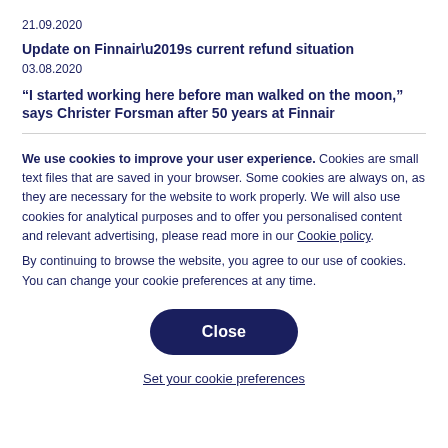21.09.2020
Update on Finnair’s current refund situation
03.08.2020
“I started working here before man walked on the moon,” says Christer Forsman after 50 years at Finnair
We use cookies to improve your user experience. Cookies are small text files that are saved in your browser. Some cookies are always on, as they are necessary for the website to work properly. We will also use cookies for analytical purposes and to offer you personalised content and relevant advertising, please read more in our Cookie policy.
By continuing to browse the website, you agree to our use of cookies. You can change your cookie preferences at any time.
Close
Set your cookie preferences